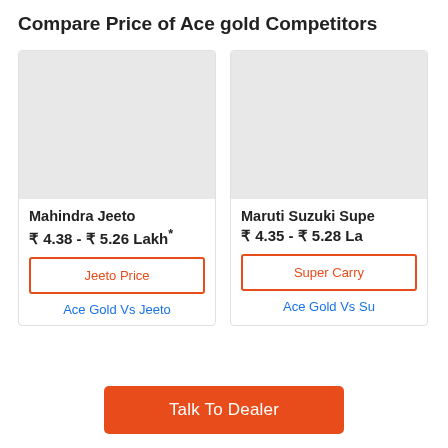Compare Price of Ace gold Competitors
[Figure (photo): Placeholder image area for Mahindra Jeeto vehicle]
Mahindra Jeeto
₹ 4.38 - ₹ 5.26 Lakh*
Jeeto Price
Ace Gold Vs Jeeto
[Figure (photo): Placeholder image area for Maruti Suzuki Super Carry vehicle]
Maruti Suzuki Supe...
₹ 4.35 - ₹ 5.28 La...
Super Carry...
Ace Gold Vs Su...
Talk To Dealer